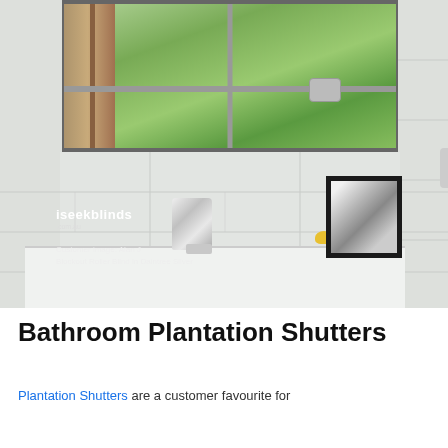[Figure (photo): Bathroom photo showing a white tiled wall with a large window overlooking green garden/trees, chrome wall-mounted bath filler tap, a bathtub, a small rubber duck, a framed black and white picture on the wall, and an iseekblinds watermark with caption: Customer image: Alan J, Blockout Roller Blind in Daintree Silver]
Bathroom Plantation Shutters
Plantation Shutters are a customer favourite for